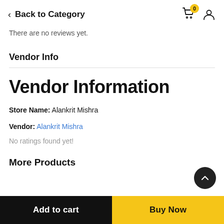Back to Category
There are no reviews yet.
Vendor Info
Vendor Information
Store Name: Alankrit Mishra
Vendor: Alankrit Mishra
No ratings found yet!
More Products
Add to cart
Buy Now